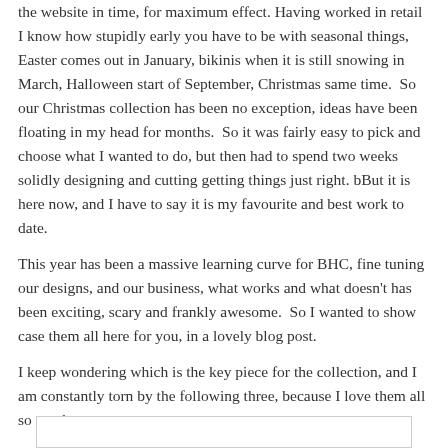the website in time, for maximum effect. Having worked in retail I know how stupidly early you have to be with seasonal things, Easter comes out in January, bikinis when it is still snowing in March, Halloween start of September, Christmas same time.  So our Christmas collection has been no exception, ideas have been floating in my head for months.  So it was fairly easy to pick and choose what I wanted to do, but then had to spend two weeks solidly designing and cutting getting things just right. bBut it is here now, and I have to say it is my favourite and best work to date.
This year has been a massive learning curve for BHC, fine tuning our designs, and our business, what works and what doesn't has been exciting, scary and frankly awesome.  So I wanted to show case them all here for you, in a lovely blog post.
I keep wondering which is the key piece for the collection, and I am constantly torn by the following three, because I love them all so much.
[Figure (other): Bottom edge of an image or image placeholder, partially visible at the bottom of the page]